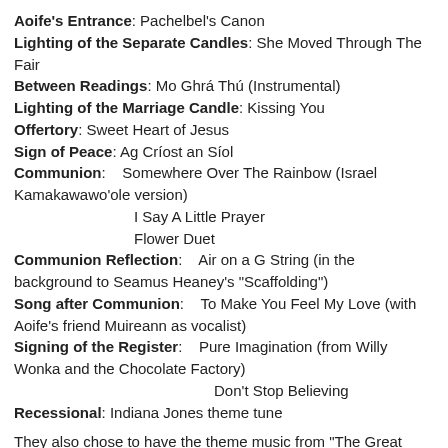Aoife's Entrance: Pachelbel's Canon
Lighting of the Separate Candles: She Moved Through The Fair
Between Readings: Mo Ghrá Thú (Instrumental)
Lighting of the Marriage Candle: Kissing You
Offertory: Sweet Heart of Jesus
Sign of Peace: Ag Críost an Síol
Communion:    Somewhere Over The Rainbow (Israel Kamakawawo'ole version)
I Say A Little Prayer
Flower Duet
Communion Reflection:    Air on a G String (in the background to Seamus Heaney's "Scaffolding")
Song after Communion:    To Make You Feel My Love (with Aoife's friend Muireann as vocalist)
Signing of the Register:    Pure Imagination (from Willy Wonka and the Chocolate Factory)
Don't Stop Believing
Recessional: Indiana Jones theme tune
They also chose to have the theme music from "The Great Escape" as a little pre-ceremony musical joke which went down really well with the